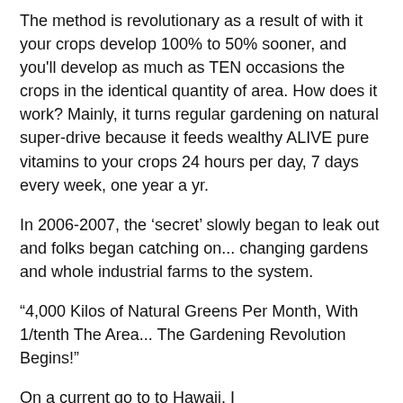The method is revolutionary as a result of with it your crops develop 100% to 50% sooner, and you'll develop as much as TEN occasions the crops in the identical quantity of area. How does it work? Mainly, it turns regular gardening on natural super-drive because it feeds wealthy ALIVE pure vitamins to your crops 24 hours per day, 7 days every week, one year a yr.
In 2006-2007, the ‘secret’ slowly began to leak out and folks began catching on... changing gardens and whole industrial farms to the system.
“4,000 Kilos of Natural Greens Per Month, With 1/tenth The Area... The Gardening Revolution Begins!”
On a current go to to Hawaii, I